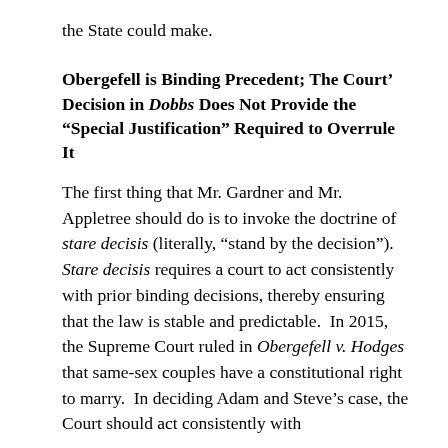the State could make.
Obergefell is Binding Precedent; The Court’ Decision in Dobbs Does Not Provide the “Special Justification” Required to Overrule It
The first thing that Mr. Gardner and Mr. Appletree should do is to invoke the doctrine of stare decisis (literally, “stand by the decision”). Stare decisis requires a court to act consistently with prior binding decisions, thereby ensuring that the law is stable and predictable. In 2015, the Supreme Court ruled in Obergefell v. Hodges that same-sex couples have a constitutional right to marry. In deciding Adam and Steve’s case, the Court should act consistently with